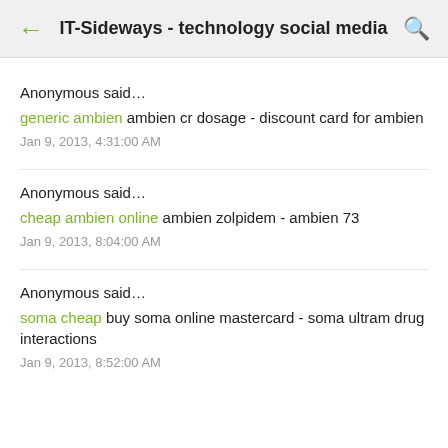IT-Sideways - technology social media
Anonymous said…
generic ambien ambien cr dosage - discount card for ambien
Jan 9, 2013, 4:31:00 AM
Anonymous said…
cheap ambien online ambien zolpidem - ambien 73
Jan 9, 2013, 8:04:00 AM
Anonymous said…
soma cheap buy soma online mastercard - soma ultram drug interactions
Jan 9, 2013, 8:52:00 AM